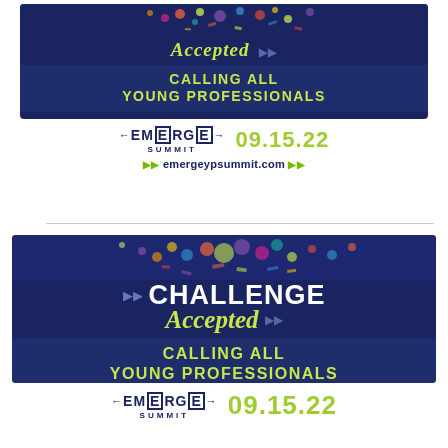[Figure (infographic): Top ad unit: Dark navy blue banner showing 'Challenge Accepted' with a colorful confetti splash at top, 'CALLING ALL YOUNG PROFESSIONALS' in lime green text, followed by EMERGE SUMMIT logo and date 09.15.22, and website emergeypsummit.com]
[Figure (infographic): Bottom larger ad unit: Dark navy blue banner showing colorful confetti splash, '>> CHALLENGE Accepted >>' with play arrows, 'CALLING ALL YOUNG PROFESSIONALS' in lime green, followed by EMERGE SUMMIT logo and date 09.15.22]